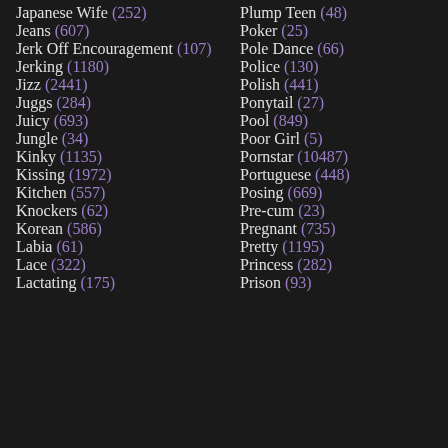Japanese Wife (252)
Jeans (607)
Jerk Off Encouragement (107)
Jerking (1180)
Jizz (2441)
Juggs (284)
Juicy (693)
Jungle (34)
Kinky (1135)
Kissing (1972)
Kitchen (557)
Knockers (62)
Korean (586)
Labia (61)
Lace (322)
Lactating (175)
Plump Teen (48)
Poker (25)
Pole Dance (66)
Police (130)
Polish (441)
Ponytail (27)
Pool (849)
Poor Girl (5)
Pornstar (10487)
Portuguese (448)
Posing (669)
Pre-cum (23)
Pregnant (735)
Pretty (1195)
Princess (282)
Prison (93)